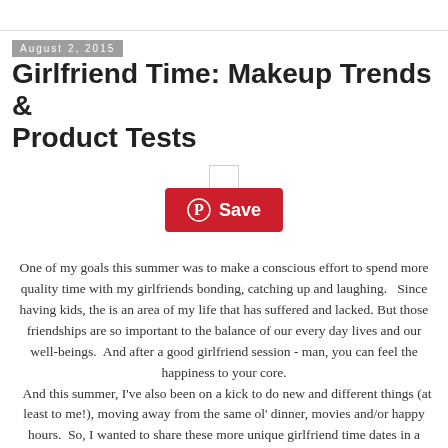August 2, 2015
Girlfriend Time: Makeup Trends & Product Tests
[Figure (other): Pinterest Save button with icon]
One of my goals this summer was to make a conscious effort to spend more quality time with my girlfriends bonding, catching up and laughing.   Since having kids, the is an area of my life that has suffered and lacked. But those friendships are so important to the balance of our every day lives and our well-beings.  And after a good girlfriend session - man, you can feel the happiness to your core.
  And this summer, I've also been on a kick to do new and different things (at least to me!), moving away from the same ol' dinner, movies and/or happy hours.  So, I wanted to share these more unique girlfriend time dates in a series over the